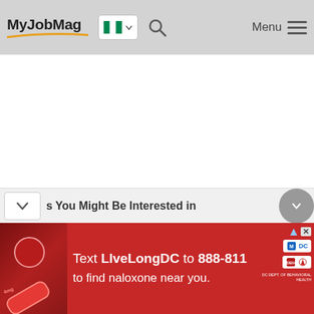MyJobMag — Navigation header with logo, Nigeria flag selector, search icon, and Menu button
s You Might Be Interested in
[Figure (infographic): Red advertisement banner: Text LIveLongDC to 888-811 to find naloxone near you. MDC and DBH logos on right.]